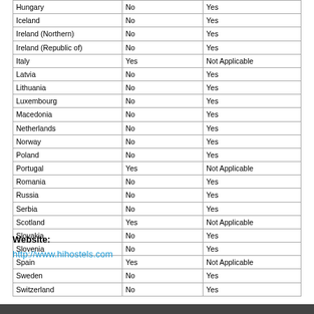| Country | Column2 | Column3 |
| --- | --- | --- |
| Hungary | No | Yes |
| Iceland | No | Yes |
| Ireland (Northern) | No | Yes |
| Ireland (Republic of) | No | Yes |
| Italy | Yes | Not Applicable |
| Latvia | No | Yes |
| Lithuania | No | Yes |
| Luxembourg | No | Yes |
| Macedonia | No | Yes |
| Netherlands | No | Yes |
| Norway | No | Yes |
| Poland | No | Yes |
| Portugal | Yes | Not Applicable |
| Romania | No | Yes |
| Russia | No | Yes |
| Serbia | No | Yes |
| Scotland | Yes | Not Applicable |
| Slovakia | No | Yes |
| Slovenia | No | Yes |
| Spain | Yes | Not Applicable |
| Sweden | No | Yes |
| Switzerland | No | Yes |
Website:
http://www.hihostels.com